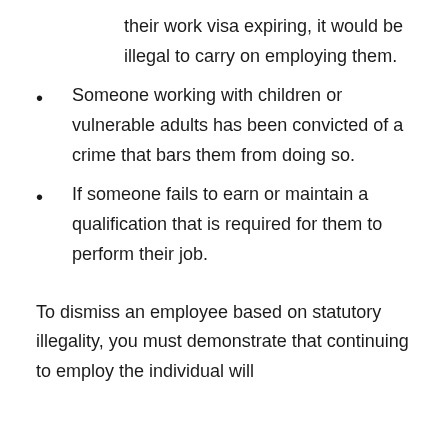their work visa expiring, it would be illegal to carry on employing them.
Someone working with children or vulnerable adults has been convicted of a crime that bars them from doing so.
If someone fails to earn or maintain a qualification that is required for them to perform their job.
To dismiss an employee based on statutory illegality, you must demonstrate that continuing to employ the individual will